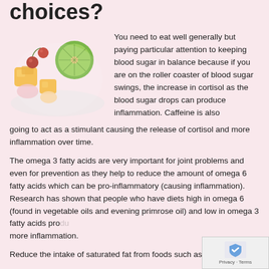choices?
[Figure (photo): A bowl of colorful mixed fruits including kiwi slices, cherries, mango chunks, and other fruits on a light background.]
You need to eat well generally but paying particular attention to keeping blood sugar in balance because if you are on the roller coaster of blood sugar swings, the increase in cortisol as the blood sugar drops can produce inflammation. Caffeine is also going to act as a stimulant causing the release of cortisol and more inflammation over time.
The omega 3 fatty acids are very important for joint problems and even for prevention as they help to reduce the amount of omega 6 fatty acids which can be pro-inflammatory (causing inflammation). Research has shown that people who have diets high in omega 6 (found in vegetable oils and evening primrose oil) and low in omega 3 fatty acids produce more inflammation.
Reduce the intake of saturated fat from foods such as dairy